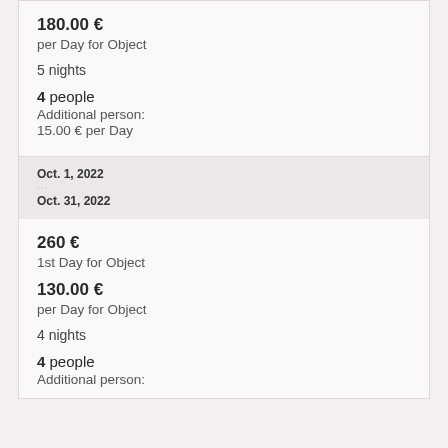180.00 €
per Day for Object
5 nights
4 people
Additional person:
15.00 € per Day
Oct. 1, 2022
···
Oct. 31, 2022
260 €
1st Day for Object
130.00 €
per Day for Object
4 nights
4 people
Additional person: